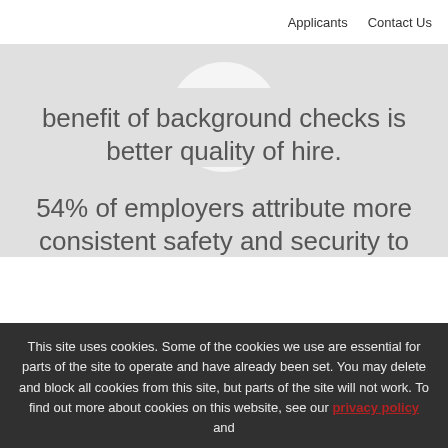Applicants  Contact Us
benefit of background checks is better quality of hire.
[Figure (illustration): Magnifying glass with exclamation mark icon inside a white circle on a light gray background]
54% of employers attribute more consistent safety and security to their screening programs.
This site uses cookies. Some of the cookies we use are essential for parts of the site to operate and have already been set. You may delete and block all cookies from this site, but parts of the site will not work. To find out more about cookies on this website, see our privacy policy and